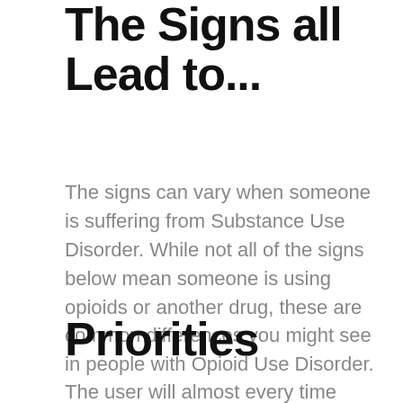The Signs all Lead to...
The signs can vary when someone is suffering from Substance Use Disorder. While not all of the signs below mean someone is using opioids or another drug, these are common differences you might see in people with Opioid Use Disorder.
Priorities
The user will almost every time move their